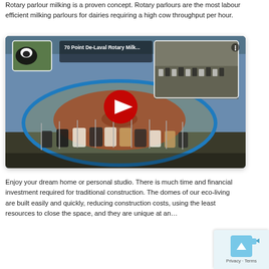Rotary parlour milking is a proven concept. Rotary parlours are the most labour efficient milking parlours for dairies requiring a high cow throughput per hour.
[Figure (screenshot): YouTube video thumbnail showing a 70 Point De-Laval Rotary Milking parlour with cows on a large circular rotating platform. A red YouTube play button is centered on the image.]
Enjoy your dream home or personal studio. There is much time and financial investment required for traditional construction. The domes of our eco-living are built easily and quickly, reducing construction costs, using the least resources to close the space, and they are unique at an...